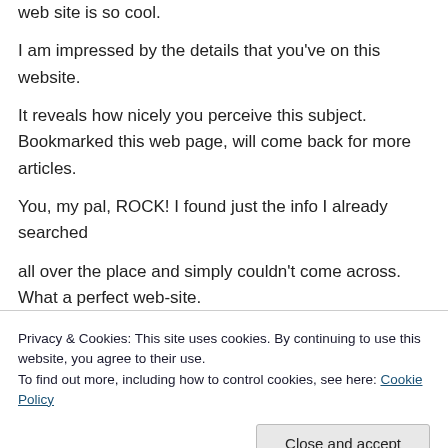web site is so cool. I am impressed by the details that you've on this website. It reveals how nicely you perceive this subject. Bookmarked this web page, will come back for more articles. You, my pal, ROCK! I found just the info I already searched all over the place and simply couldn't come across. What a perfect web-site. I've recently started a website, the info you offer
Privacy & Cookies: This site uses cookies. By continuing to use this website, you agree to their use. To find out more, including how to control cookies, see here: Cookie Policy
I really appreciate this post. I have been looking